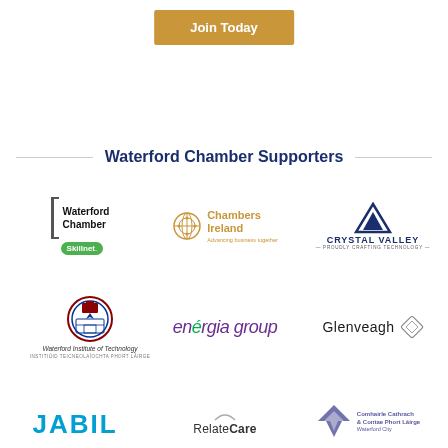[Figure (illustration): Golden/amber 'Join Today' button centered at top of page]
Waterford Chamber Supporters
[Figure (logo): Waterford Chamber Skillnet logo - bracket with text and green Skillnet badge]
[Figure (logo): Chambers Ireland logo - golden globe icon with text 'Chambers Ireland Advancing business together']
[Figure (logo): Crystal Valley logo - dark blue triangle with text 'CRYSTAL VALLEY - PROUDLY CRAFTING TECHNOLOGY']
[Figure (logo): Waterford Institute of Technology crest/shield logo with name below]
[Figure (logo): energia group logo in purple italic text with green e]
[Figure (logo): Glenveagh logo with diamond shape icon]
[Figure (logo): JABIL logo in bold blue text]
[Figure (logo): RelateCare logo with arc/circle above text]
[Figure (logo): Comhairle Cathrach & Contae Phort Lairge - Waterford City council logo with blue V shape]